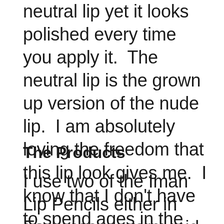neutral lip yet it looks polished every time you apply it.  The neutral lip is the grown up version of the nude lip.  I am absolutely loving the freedom that this lip look gives me.  I know that I don't have to spend ages in the mirror perfecting it.
The Products
I use two of the Iman Lip Pencils either in  Espresso, a warm mid brown shade and Cocoa a cool deep brown.  Both are perfect shade for a neutral lip.  If you